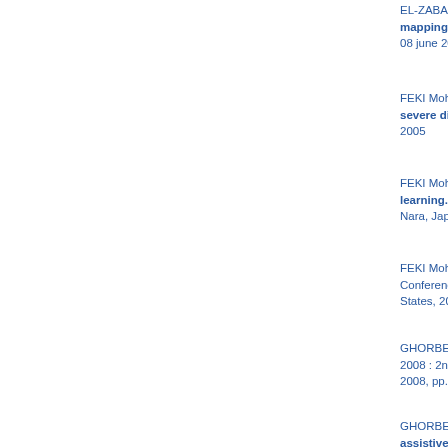EL-ZABADANI Hicham, HELAL Abdelsalam (S... mapping pervasive spaces and their conten... 08 june 2007, Marrakech, Morocco, 2007
FEKI Mohamed Ali, KADOUCHE Rachid, MO... severe disabilities. SSD '05 : Third IEEE Inter... 2005
FEKI Mohamed Ali, LEE Sang Wan, BIEN Z... learning. ICOST '07 : 5th International Confer... Nara, Japan, 2007, vol. 4541/2007, pp. 188-19...
FEKI Mohamed Ali, MOKHTARI Mounir, Towar... Conference on Aging, Disability and Independ... States, 2006, ISBN 0-9754783-0-4
GHORBEL Mahmoud, ARAB Farah, MOKHTA... 2008 : 2nd International Conference on Perva... 2008, pp. 140-143
GHORBEL Mahmoud, HARIZ Mossaab, GR... assistive robots : the AMOR project. ICOR... Chicago, Il, United States, 2005, pp. 168-172, I...
GHORBEL Mahmoud, KADOUCHE Rachid, accessibility of dependent people. ICTA '07 :... 12-14, Hammamet, Tunisia, 2007
GHORBEL Mahmoud, KHATIB Mounis, M'HA... environment. WiMob 2009 : The 5th IEEE I... IEEE Computer Society, 12-14 october 2009, I...
GHORBEL Mahmoud, MOKHTARI Mounir, RI...